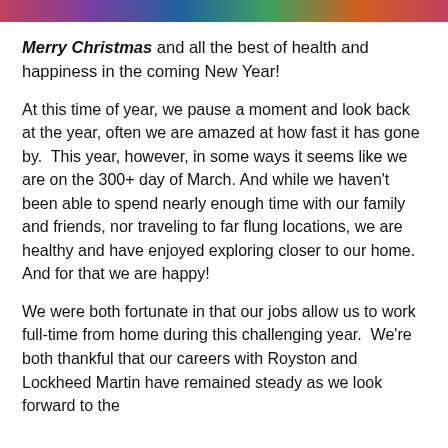[Figure (photo): Colorful photo strip banner across the top of the page]
Merry Christmas and all the best of health and happiness in the coming New Year!
At this time of year, we pause a moment and look back at the year, often we are amazed at how fast it has gone by.  This year, however, in some ways it seems like we are on the 300+ day of March. And while we haven't been able to spend nearly enough time with our family and friends, nor traveling to far flung locations, we are healthy and have enjoyed exploring closer to our home. And for that we are happy!
We were both fortunate in that our jobs allow us to work full-time from home during this challenging year.  We're both thankful that our careers with Royston and Lockheed Martin have remained steady as we look forward to the